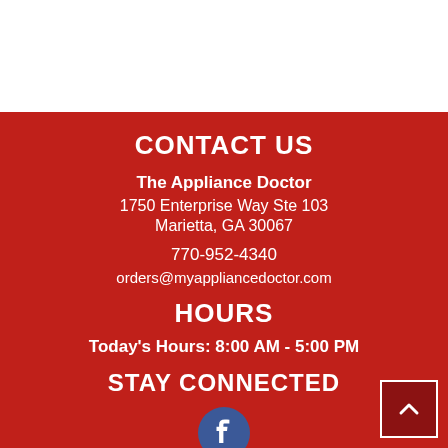CONTACT US
The Appliance Doctor
1750 Enterprise Way Ste 103
Marietta, GA 30067
770-952-4340
orders@myappliancedoctor.com
HOURS
Today's Hours: 8:00 AM - 5:00 PM
STAY CONNECTED
[Figure (logo): Facebook social media icon — blue circle with white 'f' letter]